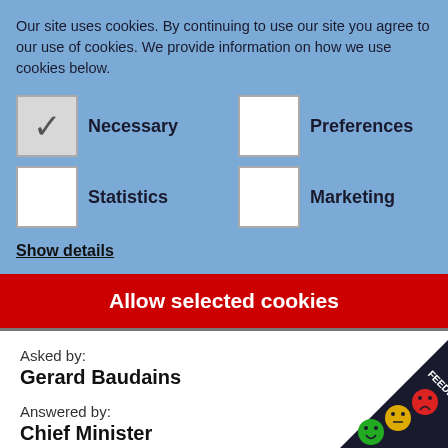Our site uses cookies. By continuing to use our site you agree to our use of cookies. We provide information on how we use cookies below.
Necessary
Preferences
Statistics
Marketing
Show details
Allow selected cookies
Asked by:
Gerard Baudains
Answered by:
Chief Minister